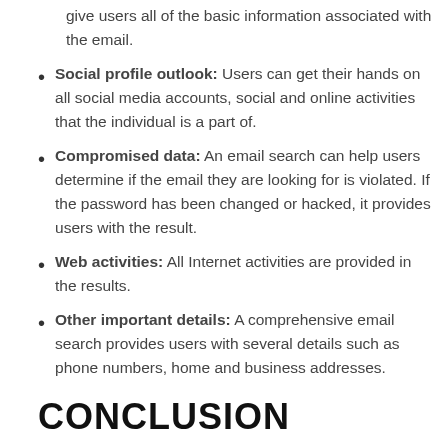give users all of the basic information associated with the email.
Social profile outlook: Users can get their hands on all social media accounts, social and online activities that the individual is a part of.
Compromised data: An email search can help users determine if the email they are looking for is violated. If the password has been changed or hacked, it provides users with the result.
Web activities: All Internet activities are provided in the results.
Other important details: A comprehensive email search provides users with several details such as phone numbers, home and business addresses.
CONCLUSION